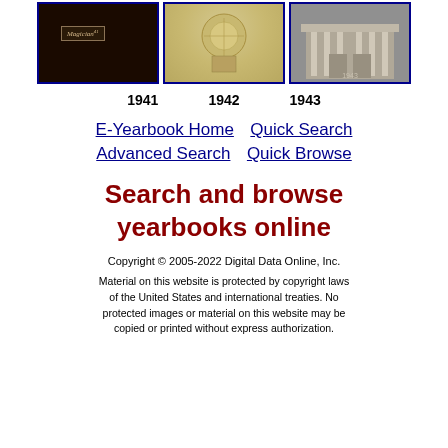[Figure (photo): Three yearbook covers side by side: 1941 dark cover with 'Magician' label, 1942 cream/illustrated cover, 1943 building/campus cover. Each with a blue border.]
1941   1942   1943
E-Yearbook Home   Quick Search   Advanced Search   Quick Browse
Search and browse yearbooks online
Copyright © 2005-2022 Digital Data Online, Inc.
Material on this website is protected by copyright laws of the United States and international treaties. No protected images or material on this website may be copied or printed without express authorization.